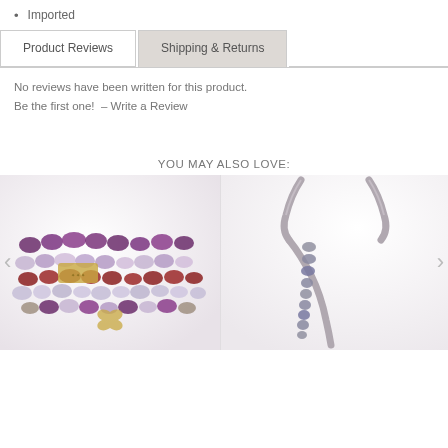Imported
Product Reviews | Shipping & Returns
No reviews have been written for this product.
Be the first one!  – Write a Review
YOU MAY ALSO LOVE:
[Figure (photo): Stack of purple and dark red beaded bracelets with gold charms on white fabric background]
[Figure (photo): Silver snake chain Y-necklace with crystal arrow pendant on white background]